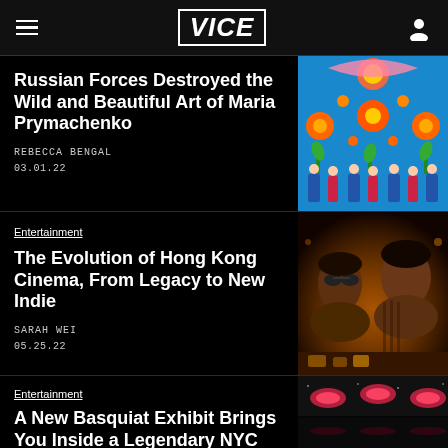VICE
Russian Forces Destroyed the Wild and Beautiful Art of Maria Prymachenko
REBECCA BENGAL
03.01.22
[Figure (photo): Colorful Ukrainian folk art painting with orange floral motifs and figures in traditional dress on blue background]
Entertainment
The Evolution of Hong Kong Cinema, From Legacy to New Indie
SARAH WEI
05.25.22
[Figure (photo): Two young people in warm orange-tinted lighting, one wearing sunglasses, leaning at a bar]
Entertainment
A New Basquiat Exhibit Brings You Inside a Legendary NYC
[Figure (photo): Dark interior room with pink/red oval lights on ceiling]